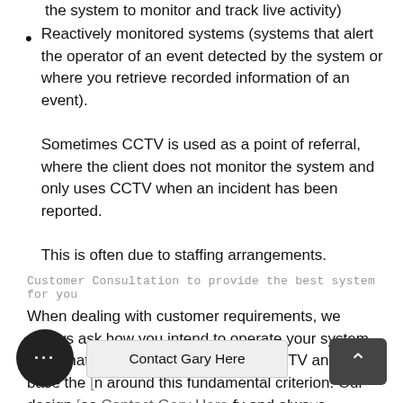the system to monitor and track live activity)
Reactively monitored systems (systems that alert the operator of an event detected by the system or where you retrieve recorded information of an event).
Sometimes CCTV is used as a point of referral, where the client does not monitor the system and only uses CCTV when an incident has been reported.
This is often due to staffing arrangements.
Customer Consultation to provide the best system for you
When dealing with customer requirements, we always ask how you intend to operate your system and what needs to be protected by CCTV and then base the [design] around this fundamental criterion. Our design [process] [simplify] and always provide a modular/expandable solution which has the flexibility to account for future needs and possible